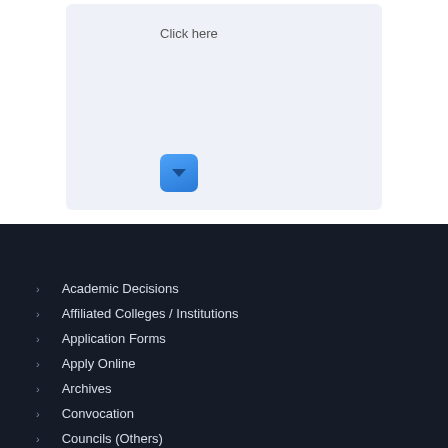Click here
[Figure (screenshot): Blue button with chevron/down arrow icon]
Academic Decisions
Affiliated Colleges / Institutions
Application Forms
Apply Online
Archives
Convocation
Councils (Others)